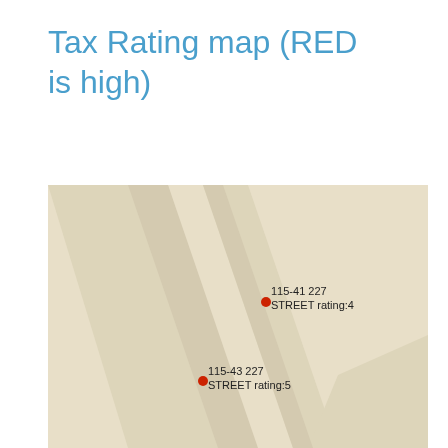Tax Rating map (RED is high)
[Figure (map): Street map showing two property locations with tax ratings. Property 1: 115-41 227 STREET rating:4 (red dot marker). Property 2: 115-43 227 STREET rating:5 (red dot marker). Map background is beige/tan with lighter diagonal road/street shapes.]